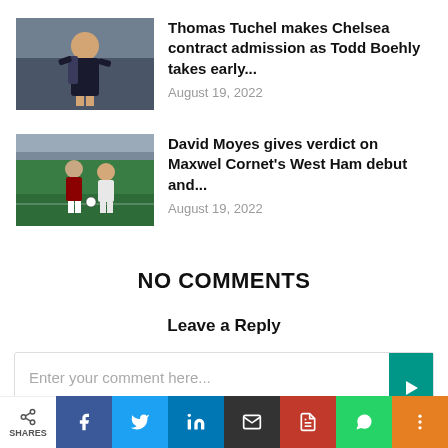[Figure (photo): Thomas Tuchel wearing Chelsea training gear with backpack]
Thomas Tuchel makes Chelsea contract admission as Todd Boehly takes early...
August 19, 2022
[Figure (photo): David Moyes and Maxwel Cornet in a West Ham football match]
David Moyes gives verdict on Maxwel Cornet's West Ham debut and...
August 19, 2022
NO COMMENTS
Leave a Reply
Enter your comment here...